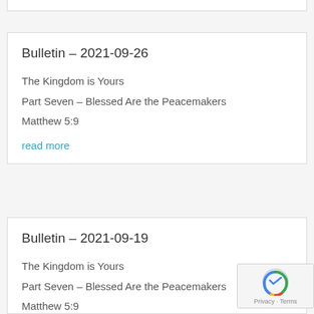Bulletin – 2021-09-26
The Kingdom is Yours
Part Seven – Blessed Are the Peacemakers
Matthew 5:9
read more
Bulletin – 2021-09-19
The Kingdom is Yours
Part Seven – Blessed Are the Peacemakers
Matthew 5:9
read more